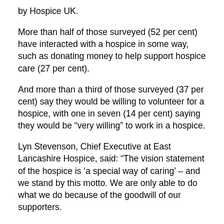by Hospice UK.
More than half of those surveyed (52 per cent) have interacted with a hospice in some way, such as donating money to help support hospice care (27 per cent).
And more than a third of those surveyed (37 per cent) say they would be willing to volunteer for a hospice, with one in seven (14 per cent) saying they would be “very willing” to work in a hospice.
Lyn Stevenson, Chief Executive at East Lancashire Hospice, said: “The vision statement of the hospice is ‘a special way of caring’ – and we stand by this motto. We are only able to do what we do because of the goodwill of our supporters.
“We wanted to thank all of our volunteers, supporters, patients, staff and trustees for their help and use the